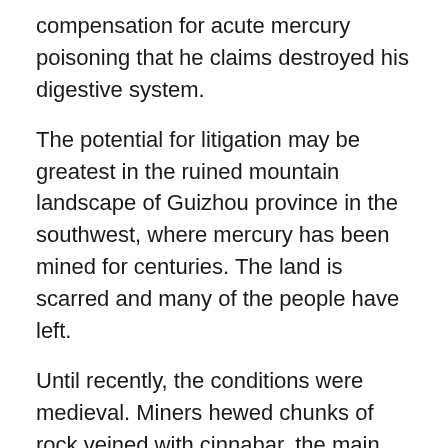compensation for acute mercury poisoning that he claims destroyed his digestive system.
The potential for litigation may be greatest in the ruined mountain landscape of Guizhou province in the southwest, where mercury has been mined for centuries. The land is scarred and many of the people have left.
Until recently, the conditions were medieval. Miners hewed chunks of rock veined with cinnabar, the main commercial source of mercury. They inhaled toxic dust and vapours as the material seethed in primitive cauldrons to extract the mercury. Nobody wore a mask or protective clothing.
“Our forefathers had been mining for mercury since the Ming Dynasty [1368-1644] and in olden days there was no pollution from such small mines,” said a 72-year-old farmer named Shen.